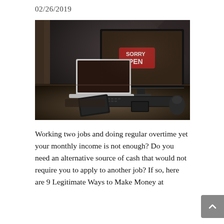02/26/2019
[Figure (photo): A dark-toned photograph of a home office desk setup with a large monitor displaying an 'OPEN' sign, a MacBook laptop, a tablet, keyboard, and mouse on a wooden surface with low ambient lighting.]
Working two jobs and doing regular overtime yet your monthly income is not enough? Do you need an alternative source of cash that would not require you to apply to another job? If so, here are 9 Legitimate Ways to Make Money at